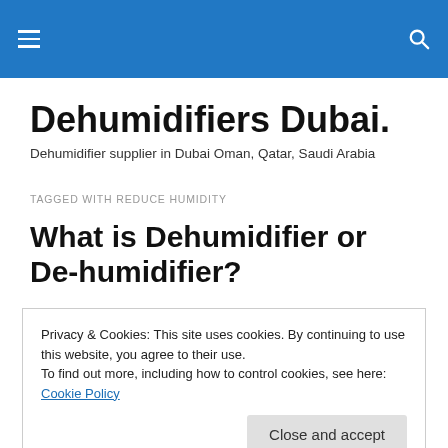Dehumidifiers Dubai. — Navigation header with hamburger menu and search icon
Dehumidifiers Dubai.
Dehumidifier supplier in Dubai Oman, Qatar, Saudi Arabia
TAGGED WITH REDUCE HUMIDITY
What is Dehumidifier or De-humidifier?
Privacy & Cookies: This site uses cookies. By continuing to use this website, you agree to their use.
To find out more, including how to control cookies, see here: Cookie Policy
Close and accept